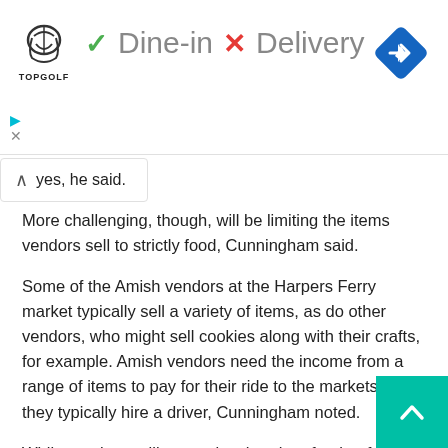[Figure (screenshot): Advertisement banner for Topgolf showing Dine-in with green checkmark and Delivery with red X, plus a blue navigation diamond icon]
yes, he said.
More challenging, though, will be limiting the items vendors sell to strictly food, Cunningham said.
Some of the Amish vendors at the Harpers Ferry market typically sell a variety of items, as do other vendors, who might sell cookies along with their crafts, for example. Amish vendors need the income from a range of items to pay for their ride to the markets, as they typically hire a driver, Cunningham noted.
While vendors selling goods other than food or farm products are prohibited, some markets are making an exception for sewn face masks.